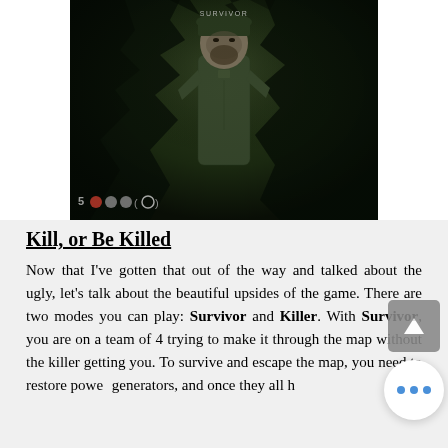[Figure (screenshot): Screenshot from a survival horror video game (Dead by Daylight) showing a male character in military-style clothing standing in a dark forest environment. A name tag is visible above the character. The HUD shows the number 5 and player icons at the bottom left.]
Kill, or Be Killed
Now that I've gotten that out of the way and talked about the ugly, let's talk about the beautiful upsides of the game. There are two modes you can play: Survivor and Killer. With Survivor, you are on a team of 4 trying to make it through the map without the killer getting you. To survive and escape the map, you need to restore power generators, and once they all have